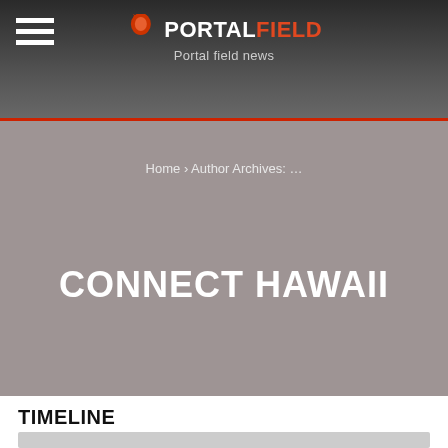PORTALFIELD — Portal field news
Home › Author Archives: …
CONNECT HAWAII
TIMELINE